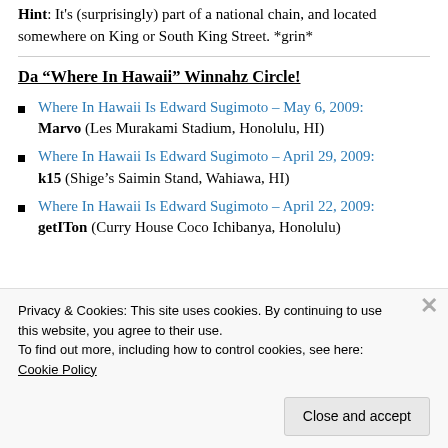Hint: It's (surprisingly) part of a national chain, and located somewhere on King or South King Street. *grin*
Da “Where In Hawaii” Winnahz Circle!
Where In Hawaii Is Edward Sugimoto – May 6, 2009: Marvo (Les Murakami Stadium, Honolulu, HI)
Where In Hawaii Is Edward Sugimoto – April 29, 2009: k15 (Shige’s Saimin Stand, Wahiawa, HI)
Where In Hawaii Is Edward Sugimoto – April 22, 2009: getITon (Curry House Coco Ichibanya, Honolulu)
Privacy & Cookies: This site uses cookies. By continuing to use this website, you agree to their use. To find out more, including how to control cookies, see here: Cookie Policy